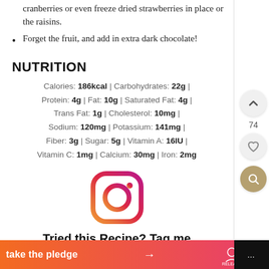cranberries or even freeze dried strawberries in place or the raisins.
Forget the fruit, and add in extra dark chocolate!
NUTRITION
Calories: 186kcal | Carbohydrates: 22g | Protein: 4g | Fat: 10g | Saturated Fat: 4g | Trans Fat: 1g | Cholesterol: 10mg | Sodium: 120mg | Potassium: 141mg | Fiber: 3g | Sugar: 5g | Vitamin A: 16IU | Vitamin C: 1mg | Calcium: 30mg | Iron: 2mg
[Figure (logo): Instagram logo icon in purple/pink gradient]
Tried this Recipe? Tag me
take the pledge → RELEASE